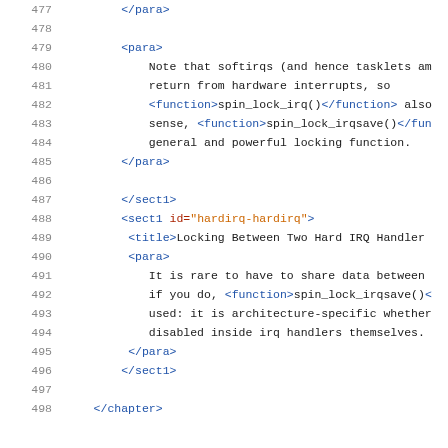XML/DocBook source code listing, lines 477-498, showing paragraph and section markup for kernel locking documentation.